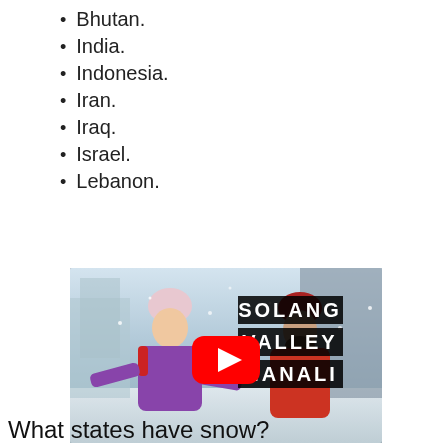Bhutan.
India.
Indonesia.
Iran.
Iraq.
Israel.
Lebanon.
[Figure (screenshot): YouTube video thumbnail showing two people in winter clothing in a snowy landscape with text 'SOLANG VALLEY MANALI' and a YouTube play button overlay.]
What states have snow?